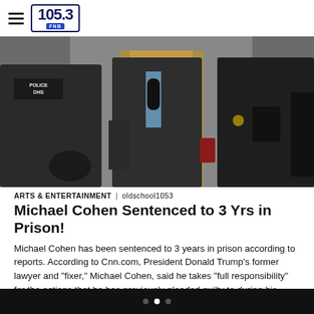105.3 FNB — oldschool1053
[Figure (photo): News photo showing people in dark clothing and police uniforms outside a building with golden doors, a man in a suit visible in the center]
ARTS & ENTERTAINMENT | oldschool1053
Michael Cohen Sentenced to 3 Yrs in Prison!
Michael Cohen has been sentenced to 3 years in prison according to reports. According to Cnn.com, President Donald Trump's former lawyer and "fixer," Michael Cohen, said he takes "full responsibility" for the actions that he has previously pleaded guilty to during his appearance in a New York federal court on Wednesday. Get Breaking News & Exclusive […]